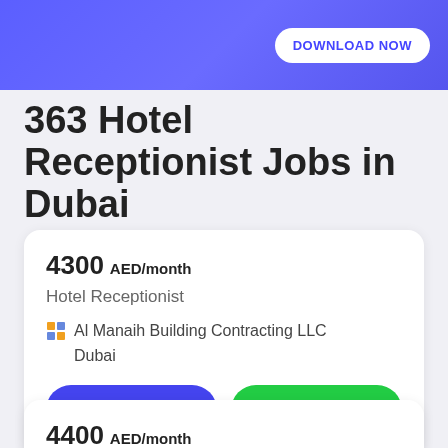DOWNLOAD NOW
363 Hotel Receptionist Jobs in Dubai
4300 AED/month
Hotel Receptionist
Al Manaih Building Contracting LLC
Dubai
APPLY NOW   Share  19
4400 AED/month